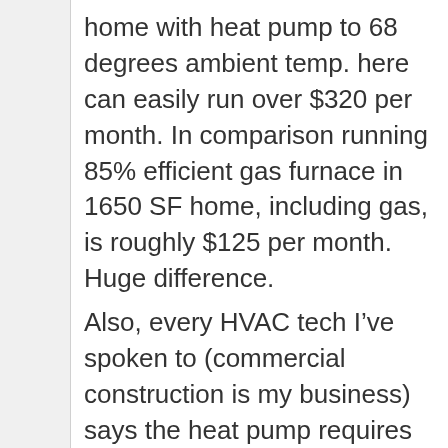home with heat pump to 68 degrees ambient temp. here can easily run over $320 per month. In comparison running 85% efficient gas furnace in 1650 SF home, including gas, is roughly $125 per month. Huge difference.
Also, every HVAC tech I’ve spoken to (commercial construction is my business) says the heat pump requires ideal conditions to operate efficiently. If those conditions aren’t met the heat pump will have to run ‘hard’, or require auxillary heating element to operate in cold conditions, costing much more per month and shortening the pump’s operational lifespan.